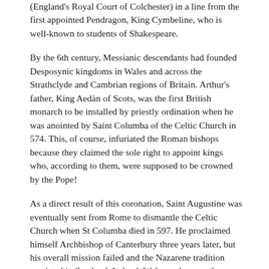(England's Royal Court of Colchester) in a line from the first appointed Pendragon, King Cymbeline, who is well-known to students of Shakespeare.
By the 6th century, Messianic descendants had founded Desposynic kingdoms in Wales and across the Strathclyde and Cambrian regions of Britain. Arthur's father, King Aedàn of Scots, was the first British monarch to be installed by priestly ordination when he was anointed by Saint Columba of the Celtic Church in 574. This, of course, infuriated the Roman bishops because they claimed the sole right to appoint kings who, according to them, were supposed to be crowned by the Pope!
As a direct result of this coronation, Saint Augustine was eventually sent from Rome to dismantle the Celtic Church when St Columba died in 597. He proclaimed himself Archbishop of Canterbury three years later, but his overall mission failed and the Nazarene tradition persisted in Scotland, Ireland, Wales and across the breadth of northern England.
An important fact to remember is that the Grail dynasts were never territorial governors of lands. Like Jesus himself, they were designated guardians of the